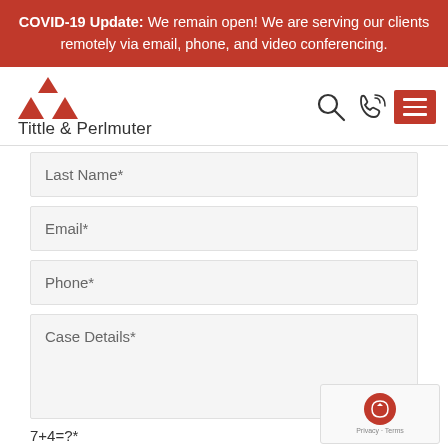COVID-19 Update: We remain open! We are serving our clients remotely via email, phone, and video conferencing.
[Figure (logo): Tittle & Perlmuter law firm logo with red triangle icon above the firm name]
Last Name*
Email*
Phone*
Case Details*